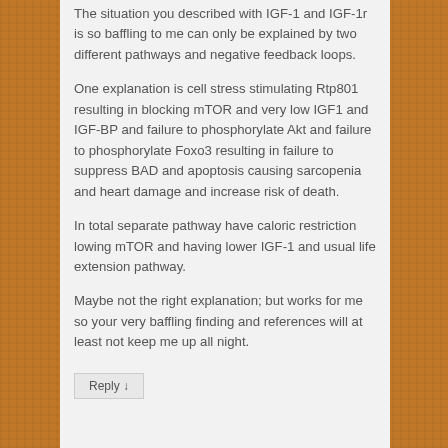The situation you described with IGF-1 and IGF-1r is so baffling to me can only be explained by two different pathways and negative feedback loops.
One explanation is cell stress stimulating Rtp801 resulting in blocking mTOR and very low IGF1 and IGF-BP and failure to phosphorylate Akt and failure to phosphorylate Foxo3 resulting in failure to suppress BAD and apoptosis causing sarcopenia and heart damage and increase risk of death.
In total separate pathway have caloric restriction lowing mTOR and having lower IGF-1 and usual life extension pathway.
Maybe not the right explanation; but works for me so your very baffling finding and references will at least not keep me up all night.